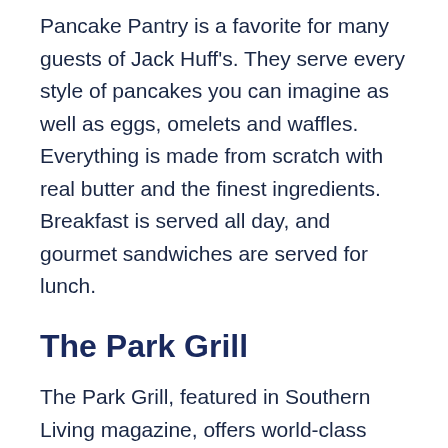Pancake Pantry is a favorite for many guests of Jack Huff's. They serve every style of pancakes you can imagine as well as eggs, omelets and waffles. Everything is made from scratch with real butter and the finest ingredients. Breakfast is served all day, and gourmet sandwiches are served for lunch.
The Park Grill
The Park Grill, featured in Southern Living magazine, offers world-class cuisine in an old lodge atmosphere. Their famous salad bar is just one of their tempting treats, but